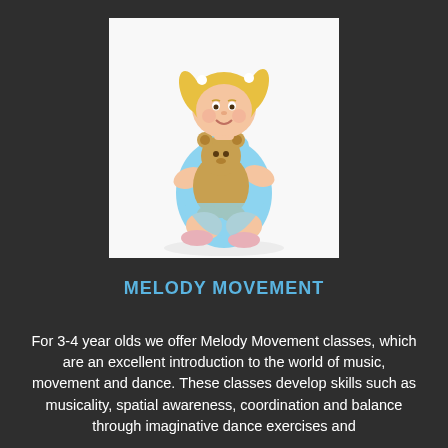[Figure (photo): A young blonde girl (3-4 years old) wearing a light blue dress and pink ballet shoes, sitting on her knees and hugging a teddy bear, photographed against a white background.]
MELODY MOVEMENT
For 3-4 year olds we offer Melody Movement classes, which are an excellent introduction to the world of music, movement and dance. These classes develop skills such as musicality, spatial awareness, coordination and balance through imaginative dance exercises and